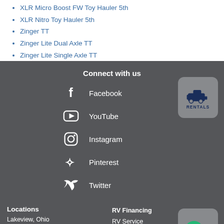XLR Micro Boost FW Toy Hauler 5th
XLR Nitro Toy Hauler 5th
Zinger TT
Zinger Lite Dual Axle TT
Zinger Lite Single Axle TT
Connect with us
Facebook
YouTube
Instagram
Pinterest
Twitter
[Figure (logo): RENTALS button with RV icon]
[Figure (logo): Chat bubble icon button]
Locations
Lakeview, Ohio
Honey Grove, Texas
Mansfield, Ohio
RV Financing
RV Service
RV Warranty
Blog